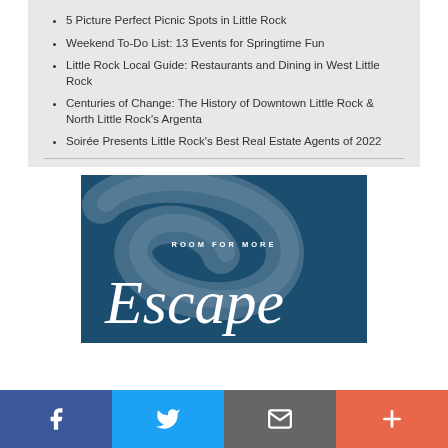5 Picture Perfect Picnic Spots in Little Rock
Weekend To-Do List: 13 Events for Springtime Fun
Little Rock Local Guide: Restaurants and Dining in West Little Rock
Centuries of Change: The History of Downtown Little Rock & North Little Rock's Argenta
Soirée Presents Little Rock's Best Real Estate Agents of 2022
[Figure (illustration): Advertisement banner with dark teal background showing 'ROOM FOR MORE' text above a cursive 'Escape' logo with a decorative G swash]
[Figure (infographic): Social media share bar with Facebook (blue), Twitter (light blue), Email (grey), and Plus (orange-red) buttons]